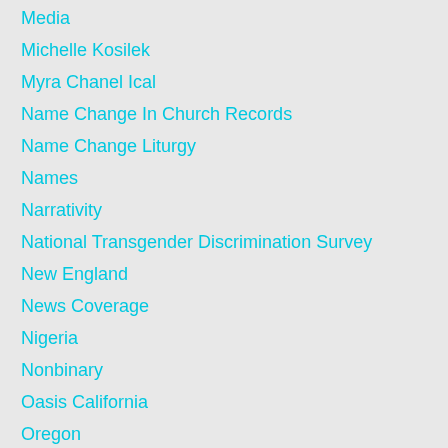Media
Michelle Kosilek
Myra Chanel Ical
Name Change In Church Records
Name Change Liturgy
Names
Narrativity
National Transgender Discrimination Survey
New England
News Coverage
Nigeria
Nonbinary
Oasis California
Oregon
Organization
Other Sheep
Pain
Parachute
Parenting
People Of Trans Background